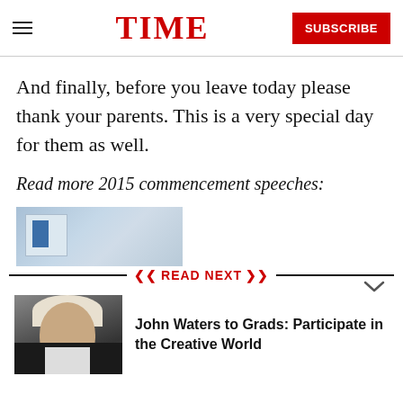TIME — SUBSCRIBE
And finally, before you leave today please thank your parents. This is a very special day for them as well.
Read more 2015 commencement speeches:
[Figure (photo): Partial thumbnail of an article preview image, showing a bluish background with a rectangular element.]
[Figure (other): Chevron/arrow pointing down icon]
READ NEXT
[Figure (photo): Photo of John Waters, a man with white hair wearing a black jacket, smiling.]
John Waters to Grads: Participate in the Creative World